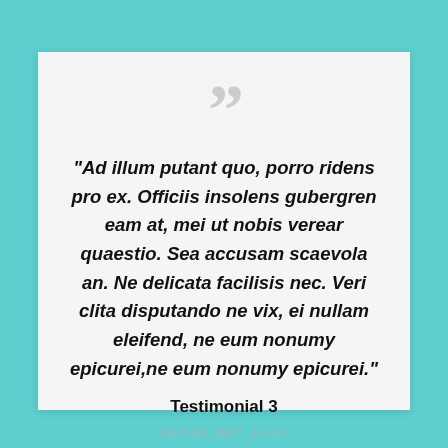“”
"Ad illum putant quo, porro ridens pro ex. Officiis insolens gubergren eam at, mei ut nobis verear quaestio. Sea accusam scaevola an. Ne delicata facilisis nec. Veri clita disputando ne vix, ei nullam eleifend, ne eum nonumy epicurei,ne eum nonumy epicurei."
Testimonial 3
15 SEP 2017, 14:42